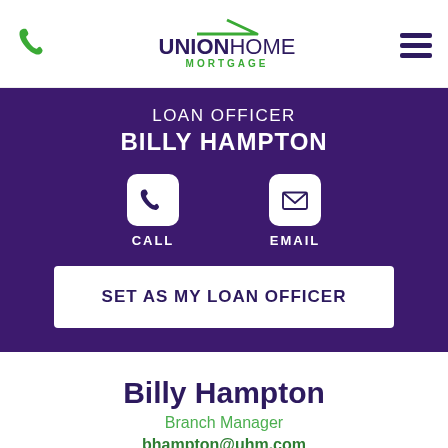[Figure (logo): Union Home Mortgage logo with green roof icon, bold purple UNION and regular HOME text, and green MORTGAGE tagline below]
LOAN OFFICER
BILLY HAMPTON
[Figure (infographic): Two action buttons: CALL (phone icon in white rounded square) and EMAIL (envelope icon in white rounded square), on purple background]
SET AS MY LOAN OFFICER
Billy Hampton
Branch Manager
bhampton@uhm.com
Phone/Fax: (479) 239-5764
Mobile: (479) 970-6605